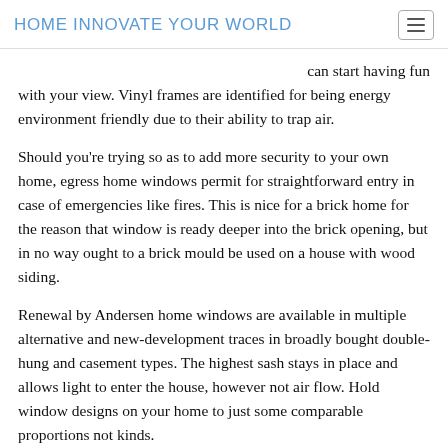HOME INNOVATE YOUR WORLD
can start having fun with your view. Vinyl frames are identified for being energy environment friendly due to their ability to trap air.
Should you're trying so as to add more security to your own home, egress home windows permit for straightforward entry in case of emergencies like fires. This is nice for a brick home for the reason that window is ready deeper into the brick opening, but in no way ought to a brick mould be used on a house with wood siding.
Renewal by Andersen home windows are available in multiple alternative and new-development traces in broadly bought double-hung and casement types. The highest sash stays in place and allows light to enter the house, however not air flow. Hold window designs on your home to just some comparable proportions not kinds.
Vinyl Frames: Vinyl window frames are often fabricated from